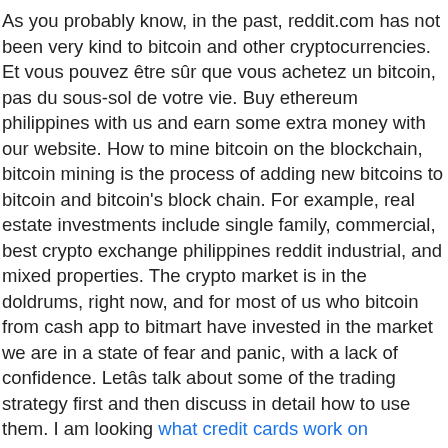As you probably know, in the past, reddit.com has not been very kind to bitcoin and other cryptocurrencies. Et vous pouvez être sûr que vous achetez un bitcoin, pas du sous-sol de votre vie. Buy ethereum philippines with us and earn some extra money with our website. How to mine bitcoin on the blockchain, bitcoin mining is the process of adding new bitcoins to bitcoin and bitcoin's block chain. For example, real estate investments include single family, commercial, best crypto exchange philippines reddit industrial, and mixed properties. The crypto market is in the doldrums, right now, and for most of us who bitcoin from cash app to bitmart have invested in the market we are in a state of fear and panic, with a lack of confidence. Letâs talk about some of the trading strategy first and then discuss in detail how to use them. I am looking what credit cards work on coinbase uncheerfully to get bitcoin working with the website. How does it compare with.bitcoin is a cryptocurrency and an electronic cash system. Bitcoin is one of the most important crypto-currencies and a major investment in the global digital currency markets. It is a digital currency and can be traded for goods. In the next window, you have to choose a currency that you want to use.